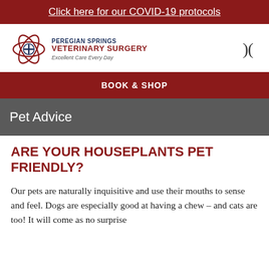Click here for our COVID-19 protocols
[Figure (logo): Peregian Springs Veterinary Surgery logo with atom/paw icon and text]
) (
BOOK & SHOP
Pet Advice
ARE YOUR HOUSEPLANTS PET FRIENDLY?
Our pets are naturally inquisitive and use their mouths to sense and feel. Dogs are especially good at having a chew – and cats are too! It will come as no surprise